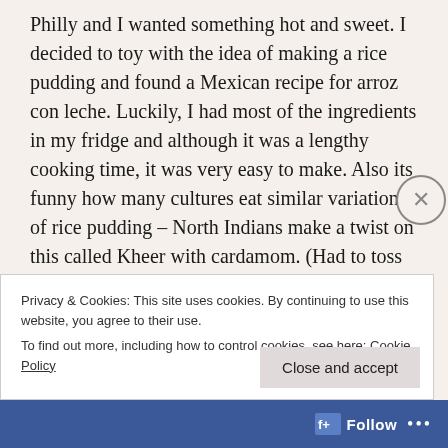Philly and I wanted something hot and sweet. I decided to toy with the idea of making a rice pudding and found a Mexican recipe for arroz con leche. Luckily, I had most of the ingredients in my fridge and although it was a lengthy cooking time, it was very easy to make. Also its funny how many cultures eat similar variations of rice pudding – North Indians make a twist on this called Kheer with cardamom. (Had to toss that tip out there since Jess is obsessed with cardamom these days, did you try her cookies?)
Privacy & Cookies: This site uses cookies. By continuing to use this website, you agree to their use.
To find out more, including how to control cookies, see here: Cookie Policy
Close and accept
Follow ...